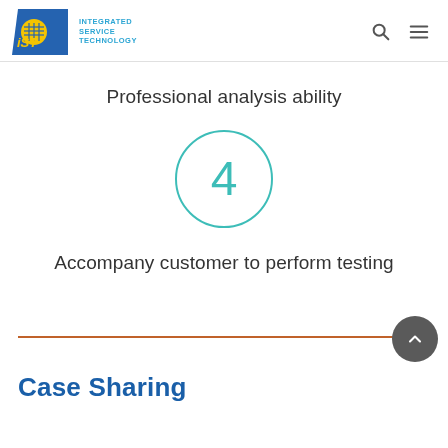IST — Integrated Service Technology
Professional analysis ability
[Figure (infographic): Circle with number 4 inside, teal border]
Accompany customer to perform testing
Case Sharing